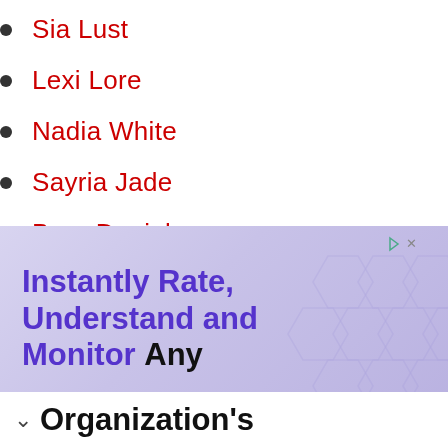Sia Lust
Lexi Lore
Nadia White
Sayria Jade
Bree Daniels
[Figure (screenshot): Advertisement banner with purple/lavender background and hexagon pattern. Text reads: 'Instantly Rate, Understand and Monitor Any Organization's' in purple and black bold font. Small play and close controls in top right.]
[Figure (screenshot): Advertisement for Hair Cuttery. Yellow logo with HC monogram, text 'Walk-Ins Available' and 'Hair Cuttery' in blue, blue navigation diamond icon on right.]